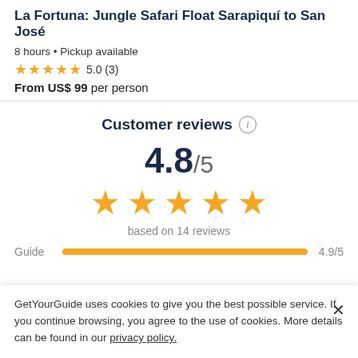La Fortuna: Jungle Safari Float Sarapiquí to San José
8 hours • Pickup available
★★★★★ 5.0 (3)
From US$ 99 per person
Customer reviews ℹ
4.8/5
based on 14 reviews
Guide 4.9/5
GetYourGuide uses cookies to give you the best possible service. If you continue browsing, you agree to the use of cookies. More details can be found in our privacy policy.